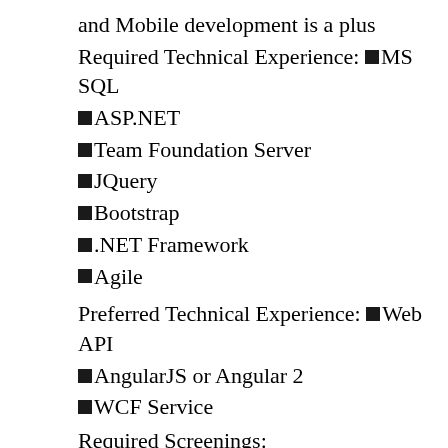and Mobile development is a plus
Required Technical Experience: ■MS SQL
■ASP.NET
■Team Foundation Server
■JQuery
■Bootstrap
■.NET Framework
■Agile
Preferred Technical Experience: ■Web API
■AngularJS or Angular 2
■WCF Service
Required Screenings:
Background Check; Drug Free Workplace.
Job Description:
The Programmer/Analyst will be responsible